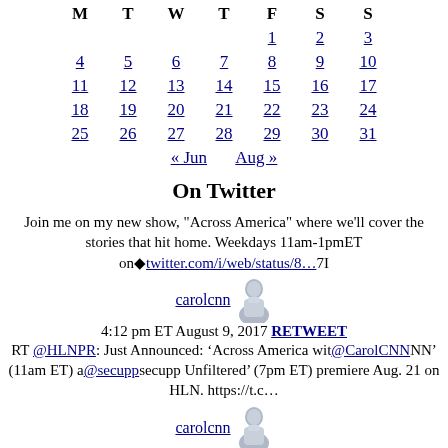| M | T | W | T | F | S | S |
| --- | --- | --- | --- | --- | --- | --- |
|  |  |  |  | 1 | 2 | 3 |
| 4 | 5 | 6 | 7 | 8 | 9 | 10 |
| 11 | 12 | 13 | 14 | 15 | 16 | 17 |
| 18 | 19 | 20 | 21 | 22 | 23 | 24 |
| 25 | 26 | 27 | 28 | 29 | 30 | 31 |
« Jun    Aug »
On Twitter
Join me on my new show, "Across America" where we'll cover the stories that hit home. Weekdays 11am-1pmET on� twitter.com/i/web/status/8…7I
carolcnn
4:12 pm ET August 9, 2017 RETWEET
RT @HLNPR: Just Announced: ‘Across America wit@CarolCNNNN’ (11am ET) a@secuppsecupp Unfiltered’ (7pm ET) premiere Aug. 21 on HLN. https://t.c…
carolcnn
4:02 pm ET August 9, 2017 RETWEET
Archives